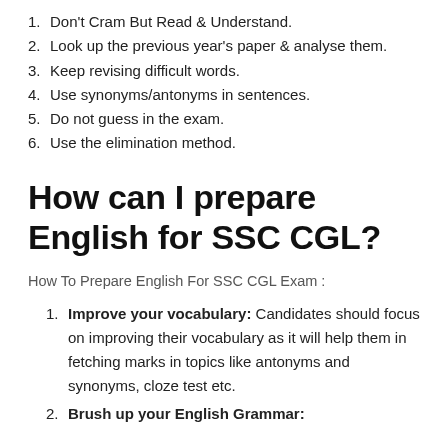1. Don't Cram But Read & Understand.
2. Look up the previous year's paper & analyse them.
3. Keep revising difficult words.
4. Use synonyms/antonyms in sentences.
5. Do not guess in the exam.
6. Use the elimination method.
How can I prepare English for SSC CGL?
How To Prepare English For SSC CGL Exam :
1. Improve your vocabulary: Candidates should focus on improving their vocabulary as it will help them in fetching marks in topics like antonyms and synonyms, cloze test etc.
2. Brush up your English Grammar: